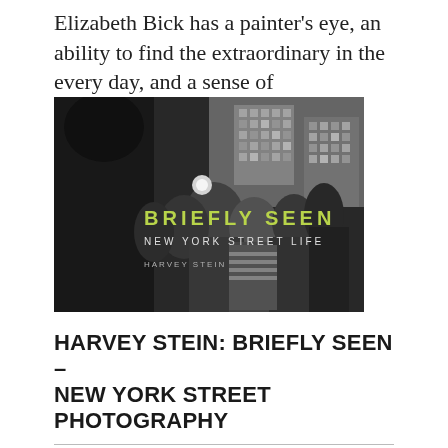Elizabeth Bick has a painter's eye, an ability to find the extraordinary in the every day, and a sense of
[Figure (photo): Book cover of 'Briefly Seen: New York Street Life' by Harvey Stein. Black and white street photography showing a crowd of people, with the title 'BRIEFLY SEEN' in yellow-green text, subtitle 'NEW YORK STREET LIFE' in white, and author name 'HARVEY STEIN' below.]
HARVEY STEIN: BRIEFLY SEEN – NEW YORK STREET PHOTOGRAPHY
By Aline Smithson | February 17th, 2016
“As individuals in New York City, when we become part of the crowd, we lose